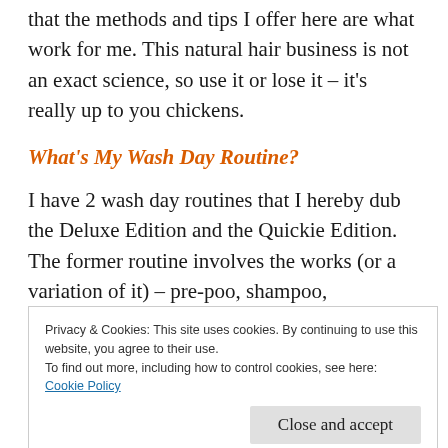that the methods and tips I offer here are what work for me. This natural hair business is not an exact science, so use it or lose it – it's really up to you chickens.
What's My Wash Day Routine?
I have 2 wash day routines that I hereby dub the Deluxe Edition and the Quickie Edition. The former routine involves the works (or a variation of it) – pre-poo, shampoo, conditioner & deep conditioner – and the latter routine is basically just co-washing – washing my hair with conditioner.
Privacy & Cookies: This site uses cookies. By continuing to use this website, you agree to their use.
To find out more, including how to control cookies, see here: Cookie Policy
Close and accept
Nevertheless, life then happens and I find myself in